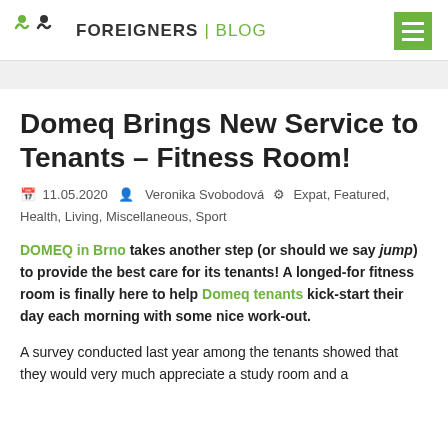FOREIGNERS | Blog
Domeq Brings New Service to Tenants – Fitness Room!
11.05.2020  Veronika Svobodová  Expat, Featured, Health, Living, Miscellaneous, Sport
DOMEQ in Brno takes another step (or should we say jump) to provide the best care for its tenants! A longed-for fitness room is finally here to help Domeq tenants kick-start their day each morning with some nice work-out.
A survey conducted last year among the tenants showed that they would very much appreciate a study room and a